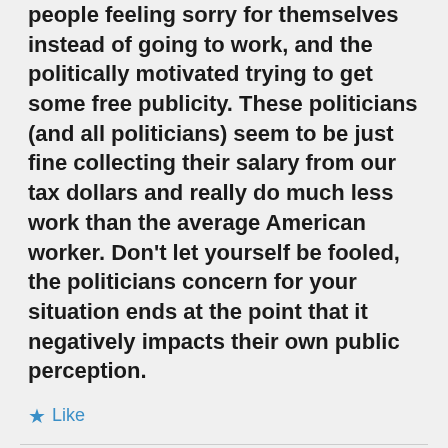people feeling sorry for themselves instead of going to work, and the politically motivated trying to get some free publicity. These politicians (and all politicians) seem to be just fine collecting their salary from our tax dollars and really do much less work than the average American worker. Don't let yourself be fooled, the politicians concern for your situation ends at the point that it negatively impacts their own public perception.
Like
leftfield on October 31, 2011 at 10:17 am